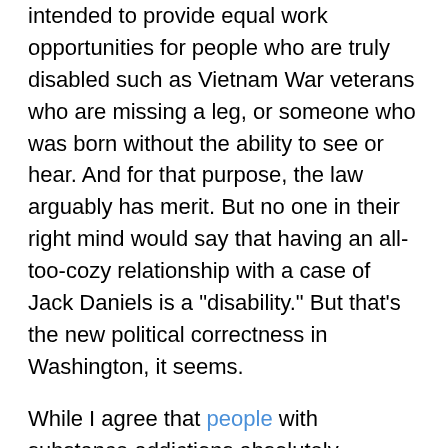intended to provide equal work opportunities for people who are truly disabled such as Vietnam War veterans who are missing a leg, or someone who was born without the ability to see or hear. And for that purpose, the law arguably has merit. But no one in their right mind would say that having an all-too-cozy relationship with a case of Jack Daniels is a "disability." But that's the new political correctness in Washington, it seems.
While I agree that people with substance addictions absolutely deserve help and treatment, even the federal government violates that principle with marijuana: Instead of treating people who smoke too much pot as "pot-aholics" -- who should, under federal logic, be "protected" as being disabled -- they are arrested and prosecuted as criminals. So how is alcohol abuse a disability but pot abuse is a felony crime? Only the goons in Washington could come up with something that offensively contradictory and punitive.